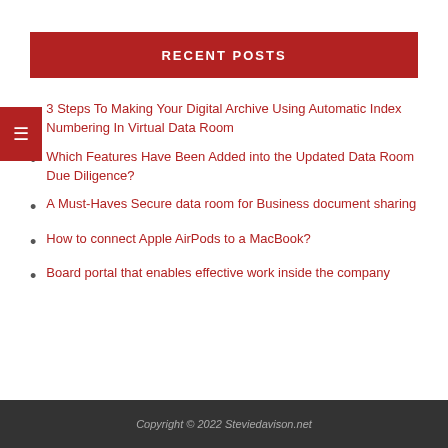RECENT POSTS
3 Steps To Making Your Digital Archive Using Automatic Index Numbering In Virtual Data Room
Which Features Have Been Added into the Updated Data Room Due Diligence?
A Must-Haves Secure data room for Business document sharing
How to connect Apple AirPods to a MacBook?
Board portal that enables effective work inside the company
Copyright © 2022 Steviedavison.net